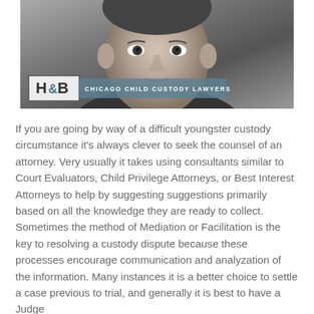[Figure (photo): Black and white photo of a young boy's face, close-up portrait. Overlaid in the lower left is the H&B law firm logo (white box with 'H&B' text) and a blue-gray bar reading 'Chicago Child Custody Lawyers' in small caps.]
If you are going by way of a difficult youngster custody circumstance it's always clever to seek the counsel of an attorney. Very usually it takes using consultants similar to Court Evaluators, Child Privilege Attorneys, or Best Interest Attorneys to help by suggesting suggestions primarily based on all the knowledge they are ready to collect. Sometimes the method of Mediation or Facilitation is the key to resolving a custody dispute because these processes encourage communication and analyzation of the information. Many instances it is a better choice to settle a case previous to trial, and generally it is best to have a Judge